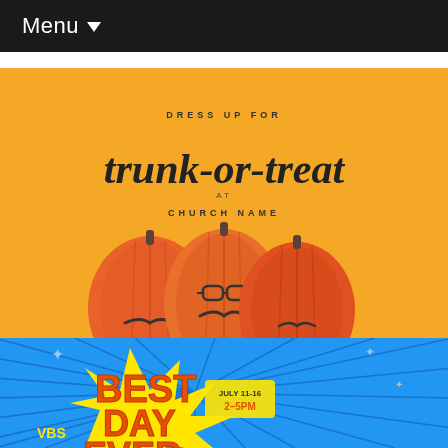Menu
[Figure (illustration): Trunk-or-treat church postcard image showing three pumpkins with mustaches on an orange background with script text 'trunk-or-treat']
Mustache Trunk or Treat
Church Postcard
5,000 for $365
[Figure (illustration): VBS 'Best Day Ever' postcard with comic book style yellow burst on blue background, 'July 11-16 2-5PM' text, VBS label]